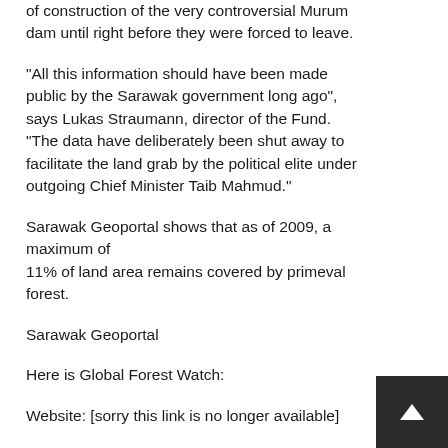of construction of the very controversial Murum dam until right before they were forced to leave.
"All this information should have been made public by the Sarawak government long ago", says Lukas Straumann, director of the Fund. "The data have deliberately been shut away to facilitate the land grab by the political elite under outgoing Chief Minister Taib Mahmud."
Sarawak Geoportal shows that as of 2009, a maximum of
11% of land area remains covered by primeval forest.
Sarawak Geoportal
Here is Global Forest Watch:
Website: [sorry this link is no longer available]